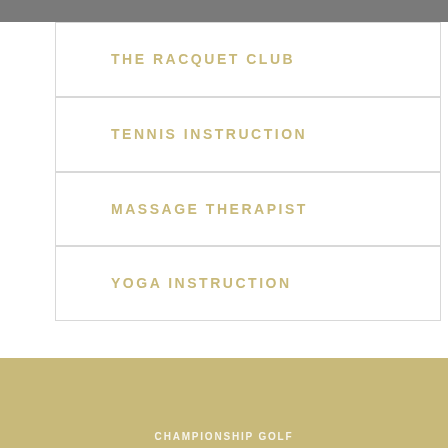THE RACQUET CLUB
TENNIS INSTRUCTION
MASSAGE THERAPIST
YOGA INSTRUCTION
CHAMPIONSHIP GOLF